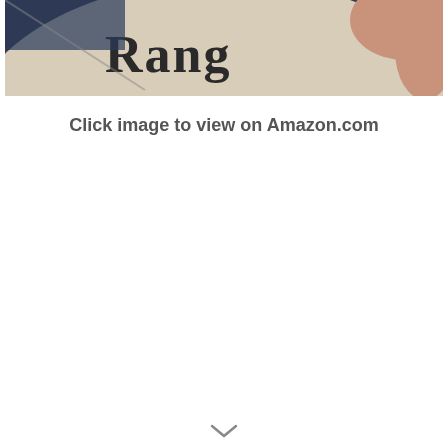[Figure (photo): A close-up photo showing a ball or round object with the text 'Rang' visible in a serif font on a light/cream surface, with a hand partially visible in the upper right corner and a dark background.]
Click image to view on Amazon.com